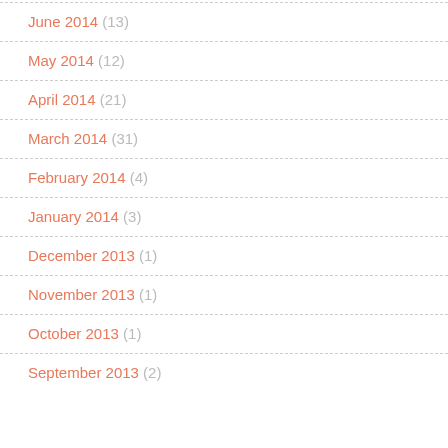June 2014 (13)
May 2014 (12)
April 2014 (21)
March 2014 (31)
February 2014 (4)
January 2014 (3)
December 2013 (1)
November 2013 (1)
October 2013 (1)
September 2013 (2)